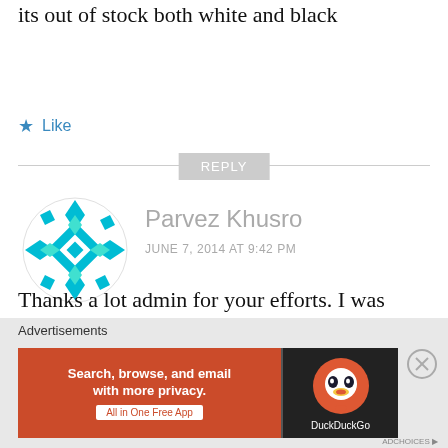its out of stock both white and black
★ Like
REPLY
[Figure (illustration): Teal geometric avatar icon for user Parvez Khusro]
Parvez Khusro
JUNE 7, 2014 AT 9:42 PM
Thanks a lot admin for your efforts. I was finally able to order because of you. 🙂
Advertisements
[Figure (screenshot): DuckDuckGo advertisement banner: Search, browse, and email with more privacy. All in One Free App]